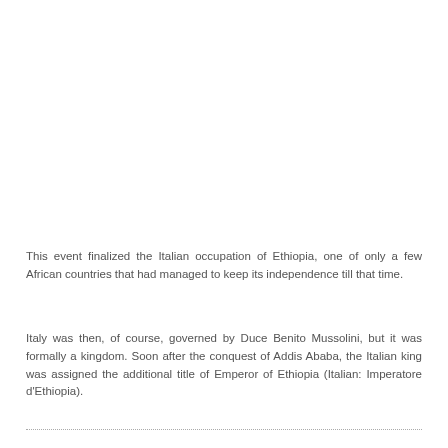This event finalized the Italian occupation of Ethiopia, one of only a few African countries that had managed to keep its independence till that time.
Italy was then, of course, governed by Duce Benito Mussolini, but it was formally a kingdom. Soon after the conquest of Addis Ababa, the Italian king was assigned the additional title of Emperor of Ethiopia (Italian: Imperatore d'Ethiopia).